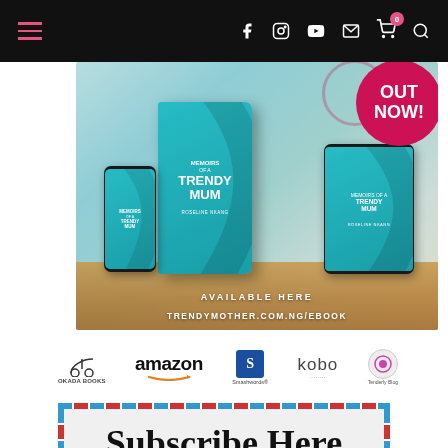Navigation bar with hamburger menu, social icons (Facebook, Instagram, YouTube, Email, Cart, Search)
[Figure (photo): Book advertisement banner for 'Memoirs of a Trendy Mum' by Roseline Nkang showing phone, hardcover book, and e-reader mockups on a wooden surface. 'OUT NOW!' badge in pink circle top right. Text reads 'AVAILABLE HERE TRENDYMOTHER.COM.NG/EBOOK']
[Figure (logo): Retailer logos row: Okada Books (bicycle icon), amazon, Smashwords, kobo, and one more retailer]
Subscribe Here